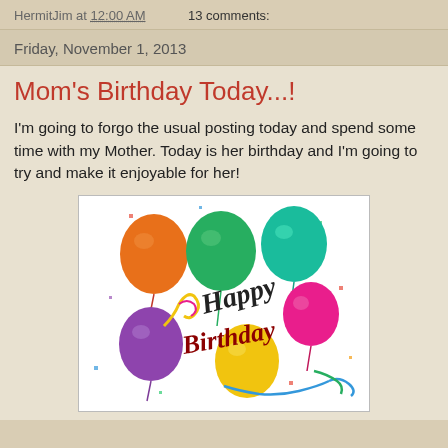HermitJim at 12:00 AM    13 comments:
Friday, November 1, 2013
Mom's Birthday Today...!
I'm going to forgo the usual posting today and spend some time with my Mother. Today is her birthday and I'm going to try and make it enjoyable for her!
[Figure (illustration): A colorful birthday card illustration with balloons (orange, green, teal, pink, purple, yellow) and cursive 'Happy Birthday' text with ribbons and confetti on white background]